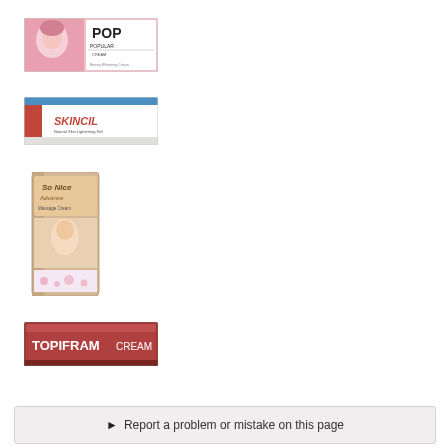[Figure (photo): POP Popular Cream product box - pink and white packaging with woman's face]
[Figure (photo): Skincil cream product box - white and blue packaging]
[Figure (photo): So Nice Advance massage cream - tall bottle with woman's face]
[Figure (photo): Topifram Cream product box - dark red/burgundy packaging]
▶ Report a problem or mistake on this page